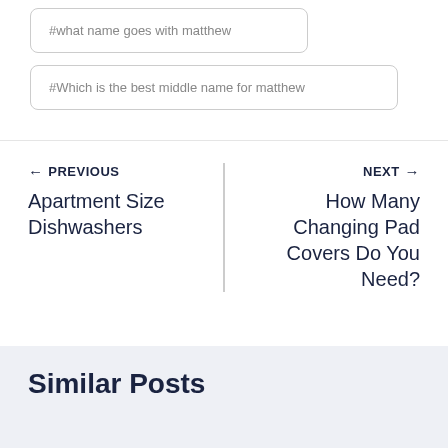#what name goes with matthew
#Which is the best middle name for matthew
← PREVIOUS
Apartment Size Dishwashers
NEXT →
How Many Changing Pad Covers Do You Need?
Similar Posts